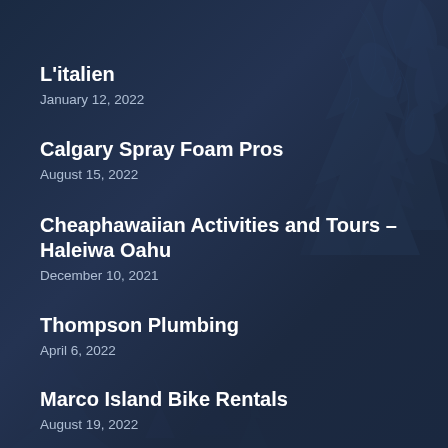L'italien
January 12, 2022
Calgary Spray Foam Pros
August 15, 2022
Cheaphawaiian Activities and Tours – Haleiwa Oahu
December 10, 2021
Thompson Plumbing
April 6, 2022
Marco Island Bike Rentals
August 19, 2022